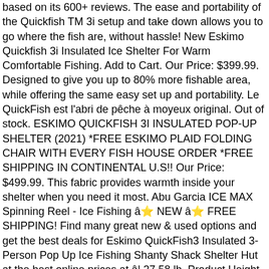based on its 600+ reviews. The ease and portability of the Quickfish TM 3i setup and take down allows you to go where the fish are, without hassle! New Eskimo Quickfish 3i Insulated Ice Shelter For Warm Comfortable Fishing. Add to Cart. Our Price: $399.99. Designed to give you up to 80% more fishable area, while offering the same easy set up and portability. Le QuickFish est l'abri de pêche à moyeux original. Out of stock. ESKIMO QUICKFISH 3I INSULATED POP-UP SHELTER (2021) *FREE ESKIMO PLAID FOLDING CHAIR WITH EVERY FISH HOUSE ORDER *FREE SHIPPING IN CONTINENTAL U.S!! Our Price: $499.99. This fabric provides warmth inside your shelter when you need it most. Abu Garcia ICE MAX Spinning Reel - Ice Fishing ⭐ NEW ⭐ FREE SHIPPING! Find many great new & used options and get the best deals for Eskimo QuickFish3 Insulated 3-Person Pop Up Ice Fishing Shanty Shack Shelter Hut at the best online prices at â¦ 27.58 lb. Product Height (in.) Eskimo Sierra Flip Shelter. Add to Cart. Warranty / Certifications. Lebel Chainsaw & Auto Repair is a premier powersports dealer & repair shop with two locations in Hearst & Kapuskasing, Ontario, Canada. Our Price: $269.99. Eskimo Sierra Thermal Flip Shelter. So Eskimo Quickfish 2, while being a cheaper option, tends to get more favorable â reviews than the $520 Eskimo